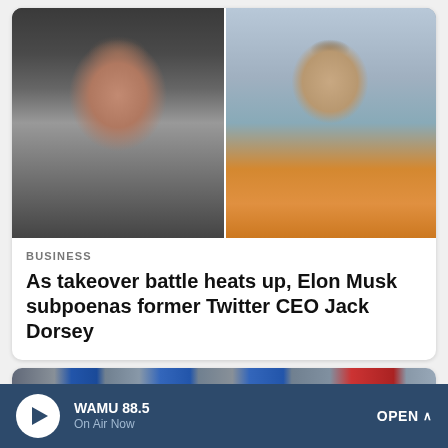[Figure (photo): Side-by-side portrait photos: Elon Musk on the left (dark jacket, blurred dark background) and Jack Dorsey on the right (bald head with long beard, wearing a tie-dye orange/yellow shirt, blurred outdoor background)]
BUSINESS
As takeover battle heats up, Elon Musk subpoenas former Twitter CEO Jack Dorsey
[Figure (photo): Partial view of a building exterior with large blue portrait banners/murals hanging on the facade, and a partial red sign on the right side]
WAMU 88.5 On Air Now OPEN ^